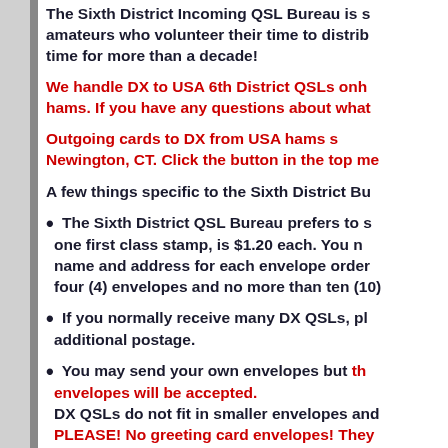The Sixth District Incoming QSL Bureau is staffed by amateurs who volunteer their time to distribute cards, some for more than a decade!
We handle DX to USA 6th District QSLs only for ARRL member hams. If you have any questions about what we handle...
Outgoing cards to DX from USA hams should be sent to Newington, CT. Click the button in the top menu bar...
A few things specific to the Sixth District Bureau:
The Sixth District QSL Bureau prefers to send envelopes with one first class stamp, is $1.20 each. You must print your name and address for each envelope ordered. No fewer than four (4) envelopes and no more than ten (10)...
If you normally receive many DX QSLs, please include additional postage.
You may send your own envelopes but they must be large... envelopes will be accepted. DX QSLs do not fit in smaller envelopes and PLEASE! No greeting card envelopes! They are too small for QSLs!
If you decide to use your own 5" x 7 1/2" envelope: --Address the envelope horizontally with your name, stamp impressions, or self sticking labels...